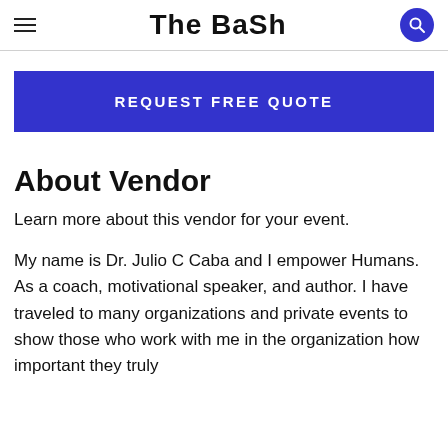The Bash
REQUEST FREE QUOTE
About Vendor
Learn more about this vendor for your event.
My name is Dr. Julio C Caba and I empower Humans. As a coach, motivational speaker, and author. I have traveled to many organizations and private events to show those who work with me in the organization how important they truly